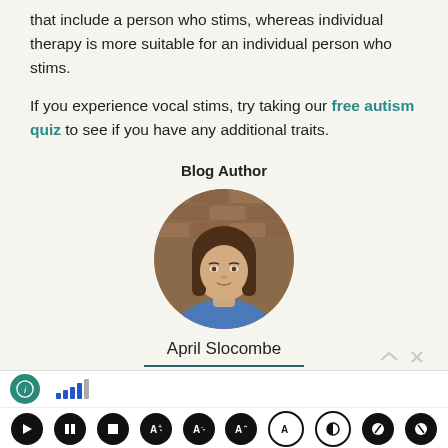that include a person who stims, whereas individual therapy is more suitable for an individual person who stims.
If you experience vocal stims, try taking our free autism quiz to see if you have any additional traits.
Blog Author
[Figure (photo): Circular headshot of a woman with brown hair wearing a blue top, standing in front of a brick wall.]
April Slocombe
Neurodivergent
[Figure (screenshot): Accessibility toolbar at the bottom of the screen with play, pause, stop, font size and contrast controls.]